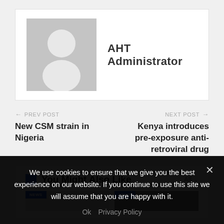[Figure (illustration): Default user avatar silhouette on grey background]
AHT Administrator
← PREV POST
New CSM strain in Nigeria
NEXT POST →
Kenya introduces pre-exposure anti-retroviral drug
You Might Also Like
We use cookies to ensure that we give you the best experience on our website. If you continue to use this site we will assume that you are happy with it.
Ok   Privacy Policy